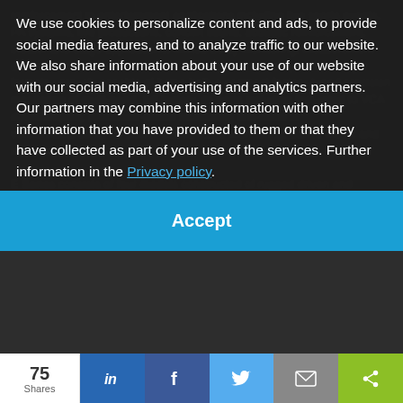reinforcement in entertainment applications including live ... stage monitoring, dance music and karaoke. E Series consists of four models constructed of rugged ... and an elegant appearance. E110, E112 and E115
We use cookies to personalize content and ads, to provide social media features, and to analyze traffic to our website. We also share information about your use of our website with our social media, advertising and analytics partners. Our partners may combine this information with other information that you have provided to them or that they have collected as part of your use of the services. Further information in the Privacy policy.
Accept
75 Shares